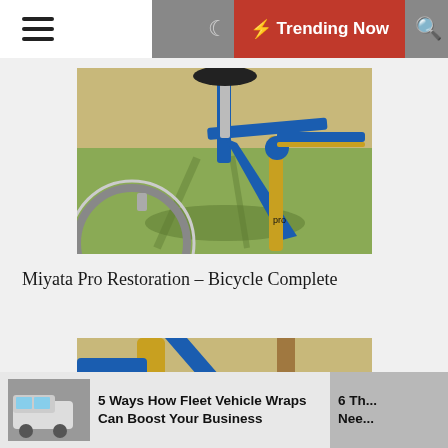☰  ☽  ⚡ Trending Now  🔍
[Figure (photo): Close-up photo of a blue and gold Miyata Pro road bicycle frame showing the seat tube, top tube junction, front fork, and wheel, photographed outdoors on grass]
Miyata Pro Restoration – Bicycle Complete
[Figure (photo): Close-up photo of the blue Miyata Pro bicycle frame and gold fork, partial view, photographed outdoors on grass]
5 Ways How Fleet Vehicle Wraps Can Boost Your Business
6 Th... Nee...